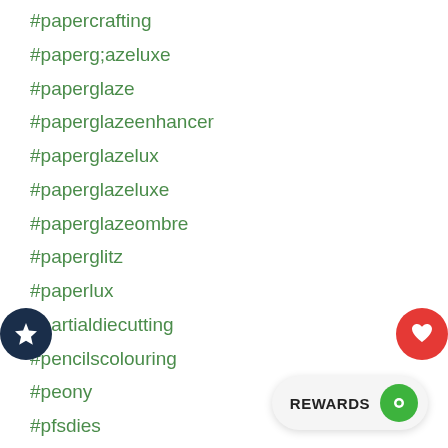#papercrafting
#paperg;azeluxe
#paperglaze
#paperglazeenhancer
#paperglazelux
#paperglazeluxe
#paperglazeombre
#paperglitz
#paperlux
#partialdiecutting
#pencilscolouring
#peony
#pfsdies
#pfspaperglaze